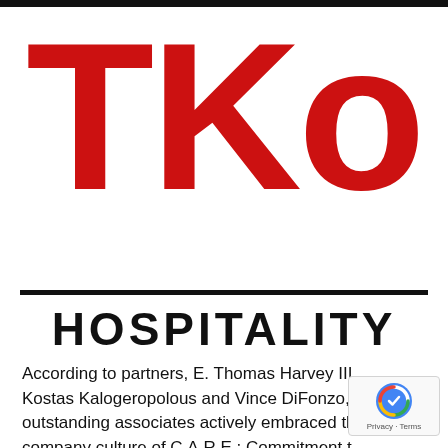[Figure (logo): TKo Hospitality logo — large red bold 'TKo' letters above two horizontal black rules, with 'HOSPITALITY' in large black bold capitals beneath]
According to partners, E. Thomas Harvey III, Kostas Kalogeropolous and Vince DiFonzo, these outstanding associates actively embraced the company culture of C.A.R.E.: Commitment to delivering exceptional results. Accountable to